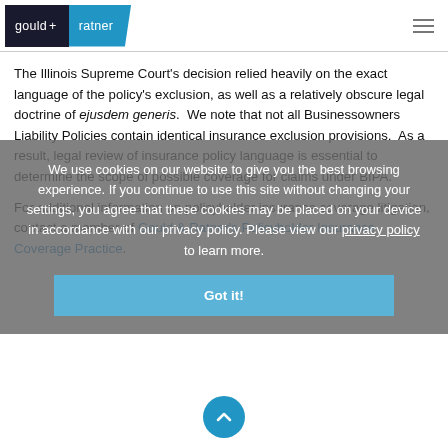gould + ratner
The Illinois Supreme Court's decision relied heavily on the exact language of the policy's exclusion, as well as a relatively obscure legal doctrine of ejusdem generis.  We note that not all Businessowners Liability Policies contain identical insurance exclusion provisions.  As a result, legal review of insurance policy language is essential to determine the scope of possible coverage for claims under BIPA.
We use cookies on our website to give you the best browsing experience. If you continue to use this site without changing your settings, you agree that these cookies may be placed on your device in accordance with our privacy policy. Please view our privacy policy to learn more.
For additional information on policyholder insurance coverage litigation, contact a member of Gould & Ratner's Policyholder Insurance Coverage Practice.